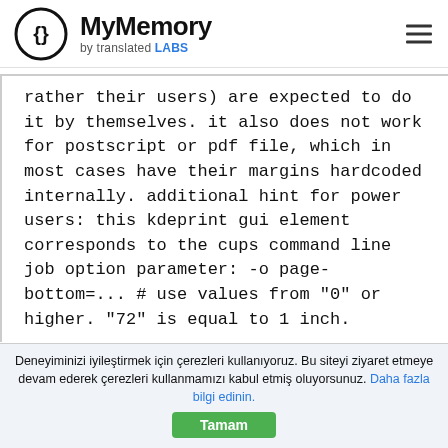MyMemory by translated LABS
rather their users) are expected to do it by themselves. it also does not work for postscript or pdf file, which in most cases have their margins hardcoded internally. additional hint for power users: this kdeprint gui element corresponds to the cups command line job option parameter: -o page-bottom=... # use values from "0" or higher. "72" is equal to 1 inch.
Nepalce
à¤à¤²à¥à¤²à¥ à¤ à¥à¤°à¤¾à¤¨à¥à¤¤.
Deneyiminizi iyileştirmek için çerezleri kullanıyoruz. Bu siteyi ziyaret etmeye devam ederek çerezleri kullanmamızı kabul etmiş oluyorsunuz. Daha fazla bilgi edinin. Tamam